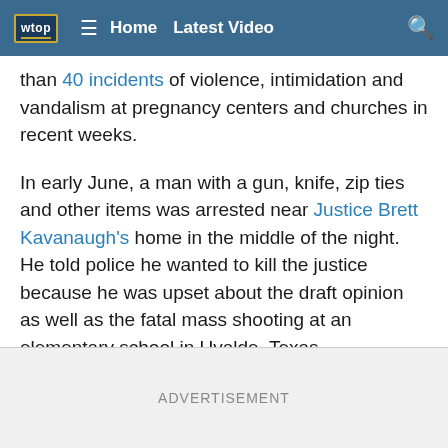wtop | Home | Latest Video
than 40 incidents of violence, intimidation and vandalism at pregnancy centers and churches in recent weeks.
In early June, a man with a gun, knife, zip ties and other items was arrested near Justice Brett Kavanaugh's home in the middle of the night. He told police he wanted to kill the justice because he was upset about the draft opinion as well as the fatal mass shooting at an elementary school in Uvalde, Texas.
The court is expected to issue its ruling in the coming days or weeks.
ADVERTISEMENT